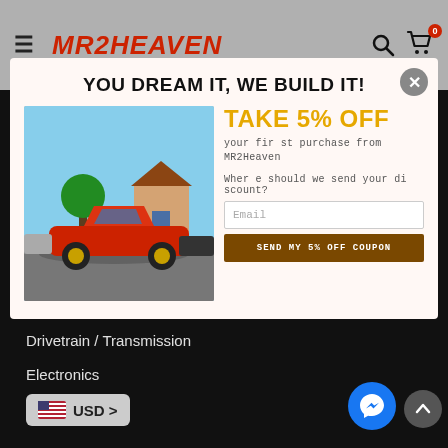MR2HEAVEN
YOU DREAM IT, WE BUILD IT!
[Figure (photo): Red Toyota MR2 sports car parked on a suburban street with trees and houses in background]
TAKE 5% OFF
your first purchase from MR2Heaven
Where should we send your discount?
Email
SEND MY 5% OFF COUPON
Cooling System
Drivetrain / Transmission
Electronics
USD >